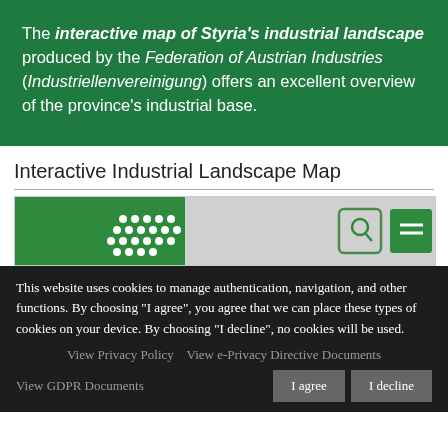The interactive map of Styria's industrial landscape produced by the Federation of Austrian Industries (Industriellenvereinigung) offers an excellent overview of the province's industrial base.
Interactive Industrial Landscape Map
[Figure (screenshot): Partial screenshot of the interactive industrial landscape map website showing green header with dot pattern logo and navigation icons]
This website uses cookies to manage authentication, navigation, and other functions. By choosing "I agree", you agree that we can place these types of cookies on your device. By choosing "I decline", no cookies will be used.
View Privacy Policy   View e-Privacy Directive Documents
View GDPR Documents